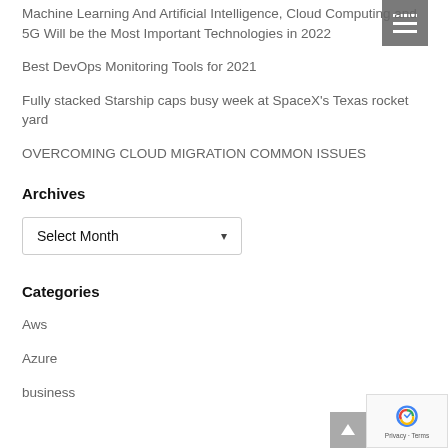Machine Learning And Artificial Intelligence, Cloud Computing and 5G Will be the Most Important Technologies in 2022
Best DevOps Monitoring Tools for 2021
Fully stacked Starship caps busy week at SpaceX's Texas rocket yard
OVERCOMING CLOUD MIGRATION COMMON ISSUES
Archives
Select Month
Categories
Aws
Azure
business